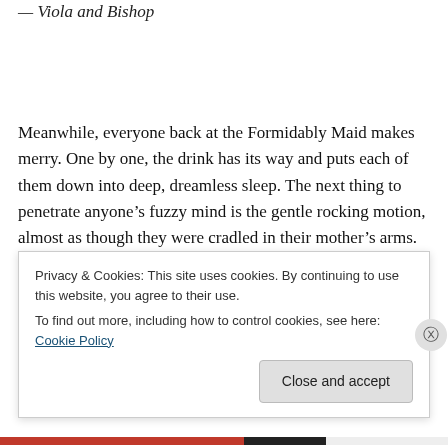— Viola and Bishop
Meanwhile, everyone back at the Formidably Maid makes merry. One by one, the drink has its way and puts each of them down into deep, dreamless sleep. The next thing to penetrate anyone's fuzzy mind is the gentle rocking motion, almost as though they were cradled in their mother's arms. It's the creak of timber and whinnying of the
Privacy & Cookies: This site uses cookies. By continuing to use this website, you agree to their use.
To find out more, including how to control cookies, see here: Cookie Policy
Close and accept